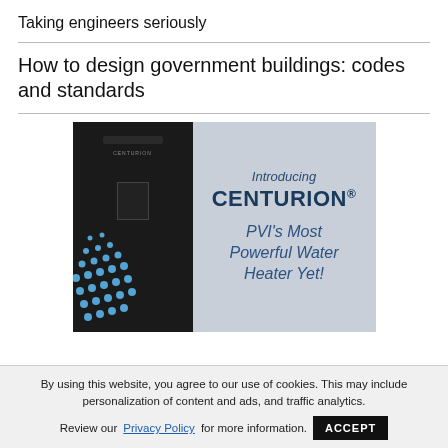Taking engineers seriously
How to design government buildings: codes and standards
[Figure (photo): Advertisement for PVI Centurion water heater. Left side shows the black Centurion unit with blue dot pattern. Right side on light blue background reads: Introducing CENTURION® — PVI's Most Powerful Water Heater Yet!]
By using this website, you agree to our use of cookies. This may include personalization of content and ads, and traffic analytics. Review our Privacy Policy for more information.